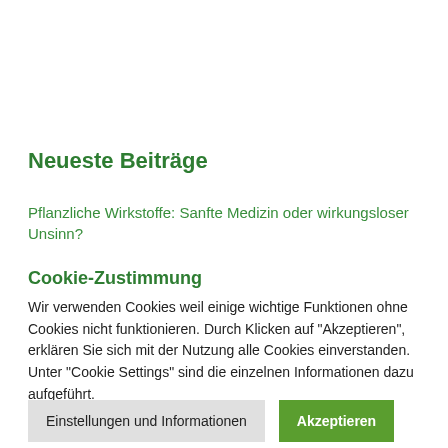Neueste Beiträge
Pflanzliche Wirkstoffe: Sanfte Medizin oder wirkungsloser Unsinn?
Cookie-Zustimmung
Wir verwenden Cookies weil einige wichtige Funktionen ohne Cookies nicht funktionieren. Durch Klicken auf "Akzeptieren", erklären Sie sich mit der Nutzung alle Cookies einverstanden. Unter "Cookie Settings" sind die einzelnen Informationen dazu aufgeführt.
Einstellungen und Informationen
Akzeptieren